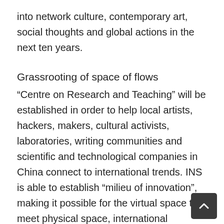into network culture, contemporary art, social thoughts and global actions in the next ten years.
Grassrooting of space of flows
“Centre on Research and Teaching” will be established in order to help local artists, hackers, makers, cultural activists, laboratories, writing communities and scientific and technological companies in China connect to international trends. INS is able to establish “milieu of innovation”, making it possible for the virtual space to meet physical space, international networks to meet local identities